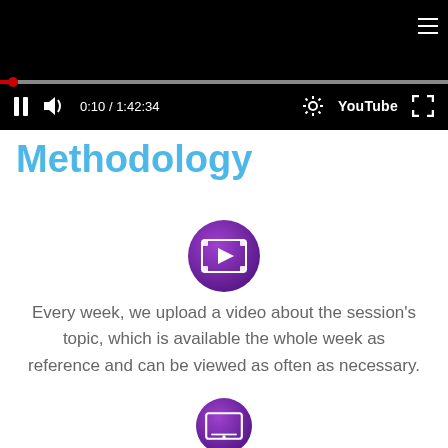[Figure (screenshot): YouTube video player showing paused/playing state at 0:10 out of 1:42:34, with progress bar, pause button, volume icon, timestamp, settings gear, YouTube logo, and fullscreen button on black background]
Methodology
[Figure (illustration): Circular purple gradient icon with a film/video play button symbol in white]
Every week, we upload a video about the session's topic, which is available the whole week as reference and can be viewed as often as necessary.
[Figure (illustration): Circular purple gradient icon partially visible at bottom, appears to show a tablet/device symbol]